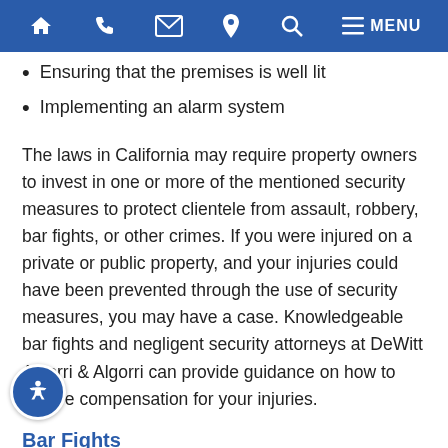Navigation bar with home, phone, email, location, search, and menu icons
Ensuring that the premises is well lit
Implementing an alarm system
The laws in California may require property owners to invest in one or more of the mentioned security measures to protect clientele from assault, robbery, bar fights, or other crimes. If you were injured on a private or public property, and your injuries could have been prevented through the use of security measures, you may have a case. Knowledgeable bar fights and negligent security attorneys at DeWitt Algorri & Algorri can provide guidance on how to secure compensation for your injuries.
Bar Fights
..., nightclubs, and other similar establishments are a b...